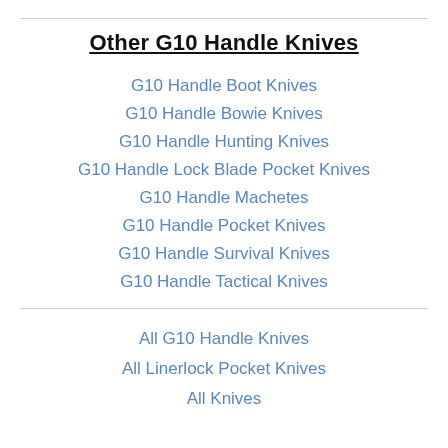Other G10 Handle Knives
G10 Handle Boot Knives
G10 Handle Bowie Knives
G10 Handle Hunting Knives
G10 Handle Lock Blade Pocket Knives
G10 Handle Machetes
G10 Handle Pocket Knives
G10 Handle Survival Knives
G10 Handle Tactical Knives
All G10 Handle Knives
All Linerlock Pocket Knives
All Knives